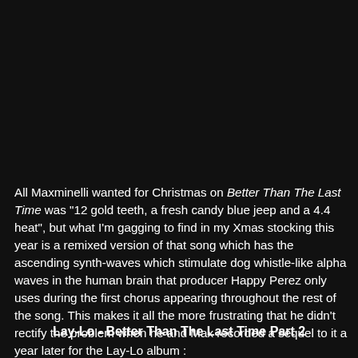All Maxminelli wanted for Christmas on Better Than The Last Time was "12 gold teeth, a fresh candy blue jeep and a 4.4 heat", but what I'm gagging to find in my Xmas stocking this year is a remixed version of that song which has the ascending synth-waves which stimulate dog whistle-like alpha waves in the human brain that producer Happy Perez only uses during the first chorus appearing throughout the rest of the song. This makes it all the more frustrating that he didn't rectify the problem when he and Max recorded a sequel to it a year later for the Lay-Lo album :
Lay-Lo - Better Than The Last Time Part 2